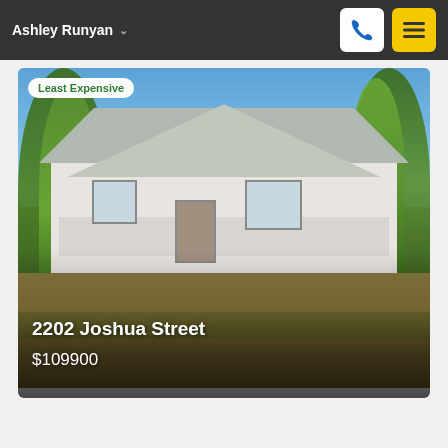Ashley Runyan
[Figure (photo): Exterior photo of a white single-story house with gray roof, front porch, surrounded by trees and a dry grass yard. Labeled 'Least Expensive'. Address: 2202 Joshua Street. Price: $109900.]
2202 Joshua Street
$109900